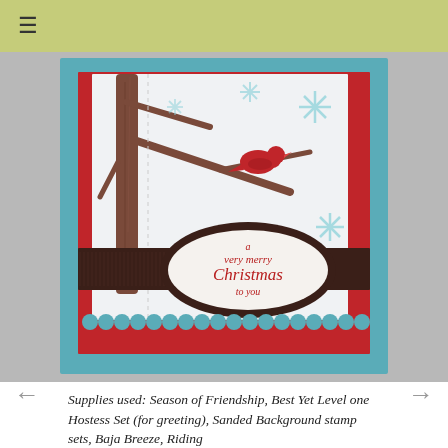≡
[Figure (photo): A handmade Christmas card featuring a winter scene with a brown tree, red bird on a branch, light blue snowflakes on white background, teal/turquoise cardstock layers, a dark brown grosgrain ribbon band, a dark brown oval with white oval label reading 'a very merry Christmas to you' in red, red scalloped bottom layer.]
Supplies used:  Season of Friendship, Best Yet Level one Hostess Set (for greeting), Sanded Background stamp sets, Baja Breeze, Riding